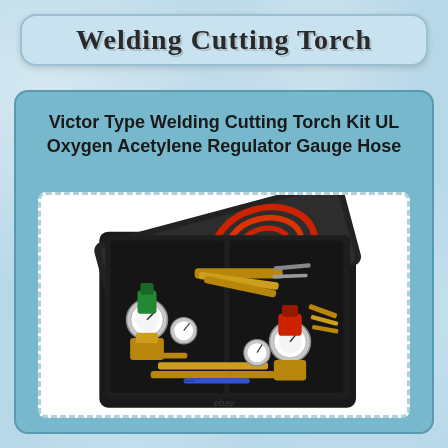Welding Cutting Torch
Victor Type Welding Cutting Torch Kit UL Oxygen Acetylene Regulator Gauge Hose
[Figure (photo): A Victor-type welding cutting torch kit displayed in an open black carrying case. The case contains: red hoses coiled in the top half, brass torch bodies and cutting attachments in the bottom half, two pressure regulators with gauges (one green/oxygen, one red/acetylene), and various tips and fittings. The ebay watermark appears at the bottom center.]